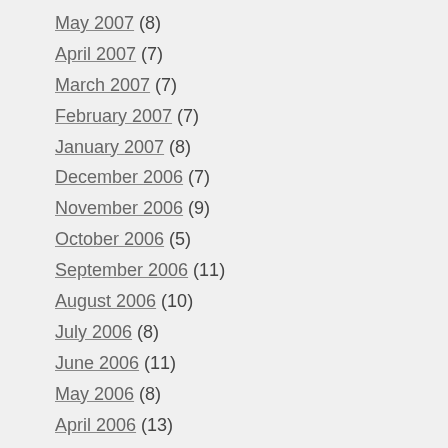May 2007 (8)
April 2007 (7)
March 2007 (7)
February 2007 (7)
January 2007 (8)
December 2006 (7)
November 2006 (9)
October 2006 (5)
September 2006 (11)
August 2006 (10)
July 2006 (8)
June 2006 (11)
May 2006 (8)
April 2006 (13)
March 2006 (15)
February 2006 (9)
January 2006 (11)
December 2005 (9)
November 2005 (10)